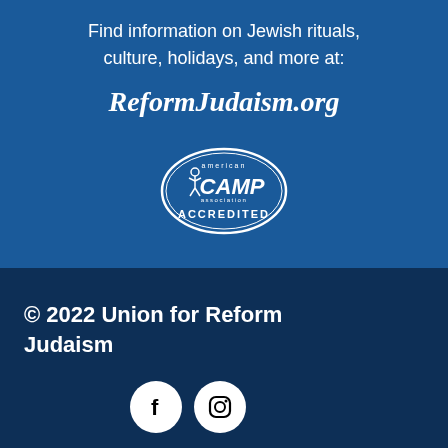Find information on Jewish rituals, culture, holidays, and more at:
ReformJudaism.org
[Figure (logo): American Camp Association Accredited oval logo in white outline on blue background]
© 2022 Union for Reform Judaism
[Figure (other): Facebook and Instagram social media icons as white circles with black symbols]